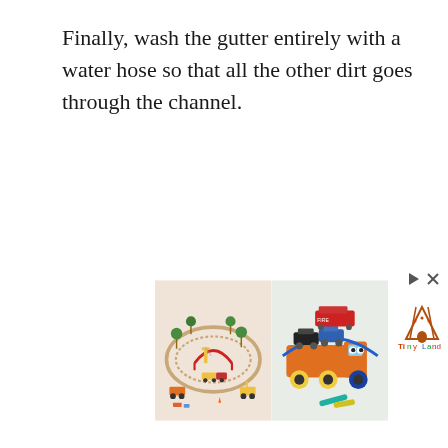Finally, wash the gutter entirely with a water hose so that all the other dirt goes through the channel.
[Figure (photo): Advertisement showing two toy product images side by side: left image shows a wooden toy train track set with colorful accessories on a beige background; right image shows a colorful toy car carrier truck with vehicles on a light green background. Next to the images is a small Tiny Land logo with play/close buttons.]